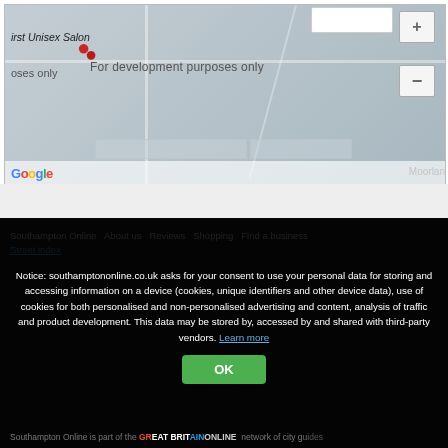[Figure (screenshot): Partial Google Maps embed showing a street map with a location pin, 'For development purposes only' watermark, Google logo, and zoom controls. Text 'First Unisex Salon' and 'For development purposes only' visible.]
Southampton Online   About us   Reviews   Shopping   Find a business   Street index
Notice: southamptononline.co.uk asks for your consent to use your personal data for storing and accessing information on a device (cookies, unique identifiers and other device data), use of cookies for both personalised and non-personalised advertising and content, analysis of traffic and product development. This data may be stored by, accessed by and shared with third-party vendors. Learn more
Southampton Online is part of the BRITAINONLINE network of city guides.
OK